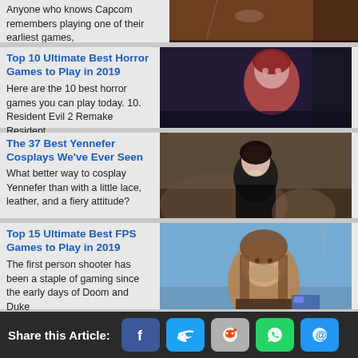Anyone who knows Capcom remembers playing one of their earliest games,
[Figure (photo): Partial view of a dark-themed game character image, cropped at top]
Top 10 Ultimate Best Horror Games to Play in 2019
Here are the 10 best horror games you can play today. 10. Resident Evil 2 Remake Resident
[Figure (photo): Resident Evil 2 Remake character Claire Redfield in red jacket]
The 37 Best Yennefer Cosplays We've Ever Seen
What better way to cosplay Yennefer than with a little lace, leather, and a fiery attitude?
[Figure (photo): Woman cosplaying as Yennefer from The Witcher in dark outfit]
Top 15 Ultimate Best FPS Games to Play in 2019
The first person shooter has been a staple of gaming since the early days of Doom and Duke
[Figure (photo): Long-haired man in post-apocalyptic attire, Cyberpunk 2077 character]
Share this Article: